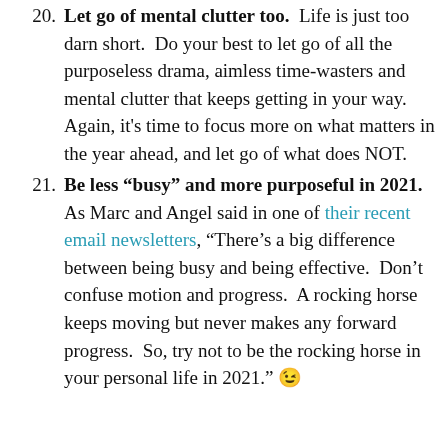20. Let go of mental clutter too. Life is just too darn short. Do your best to let go of all the purposeless drama, aimless time-wasters and mental clutter that keeps getting in your way. Again, it's time to focus more on what matters in the year ahead, and let go of what does NOT.
21. Be less "busy" and more purposeful in 2021. As Marc and Angel said in one of their recent email newsletters, "There's a big difference between being busy and being effective. Don't confuse motion and progress. A rocking horse keeps moving but never makes any forward progress. So, try not to be the rocking horse in your personal life in 2021." 😉